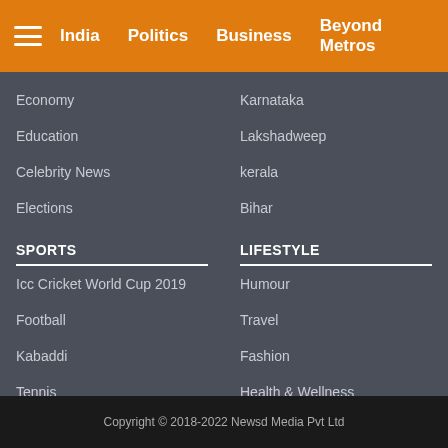India | Politics | Business | Beyond Metros
Economy
Education
Celebrity News
Elections
Karnataka
Lakshadweep
kerala
Bihar
SPORTS
LIFESTYLE
Icc Cricket World Cup 2019
Football
Kabaddi
Tennis
Badminton
Humour
Travel
Fashion
Health & Wellness
Auto
Copyright © 2018-2022 Newsd Media Pvt Ltd